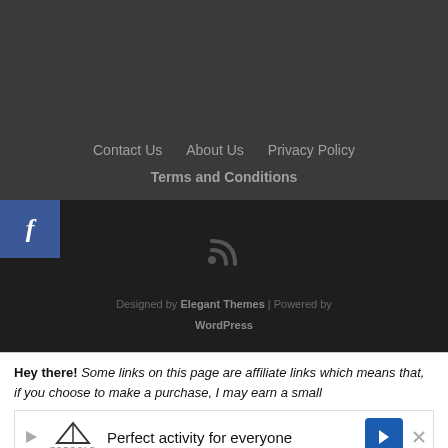[Figure (screenshot): Dark gray top section of a webpage footer area, empty space.]
Contact Us  About Us  Privacy Policy  Terms and Conditions
[Figure (screenshot): Facebook icon button (blue square with white 'f') on the left, and an RSS feed icon in dark gray footer area.]
Designed by Elegant Themes | Powered by WordPress
Hey there! Some links on this page are affiliate links which means that, if you choose to make a purchase, I may earn a small
[Figure (screenshot): Advertisement banner for Topgolf: 'Perfect activity for everyone' with Topgolf logo and blue arrow icon.]